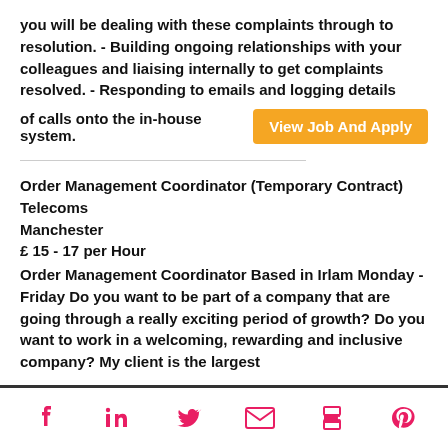you will be dealing with these complaints through to resolution. - Building ongoing relationships with your colleagues and liaising internally to get complaints resolved. - Responding to emails and logging details
of calls onto the in-house system.
View Job And Apply
Order Management Coordinator (Temporary Contract)
Telecoms
Manchester
£ 15 - 17 per Hour
Order Management Coordinator Based in Irlam Monday - Friday Do you want to be part of a company that are going through a really exciting period of growth? Do you want to work in a welcoming, rewarding and inclusive company? My client is the largest
Social share icons: Facebook, LinkedIn, Twitter, Email, Print, Pinterest